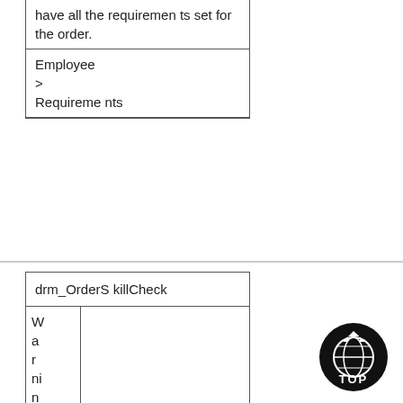| have all the requirements set for the order. |
| Employee > Requirements |
| drm_OrderSkillCheck |
| Warning |  |
[Figure (logo): TOP logo — black circle with globe/arrow design and 'TOP' text]